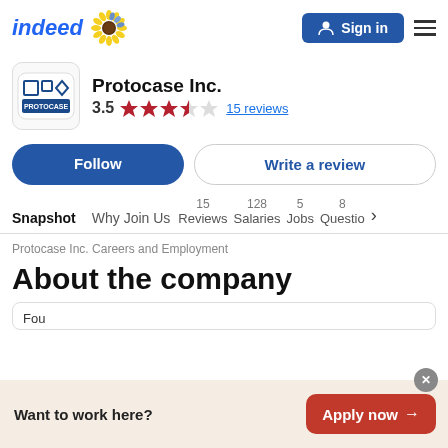indeed | Sign in
Protocase Inc. 3.5 ★★★★☆ 15 reviews
Follow | Write a review
Snapshot | Why Join Us | 15 Reviews | 128 Salaries | 5 Jobs | 8 Questions >
Protocase Inc. Careers and Employment
About the company
Fou
Want to work here? Apply now →